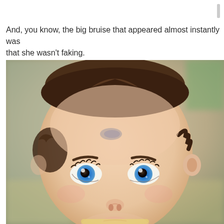And, you know, the big bruise that appeared almost instantly was that she wasn't faking.
[Figure (photo): Close-up photo of a baby/toddler with big blue eyes, brown curly hair, looking directly at the camera with a surprised expression. A faint bruise mark is visible on the forehead.]